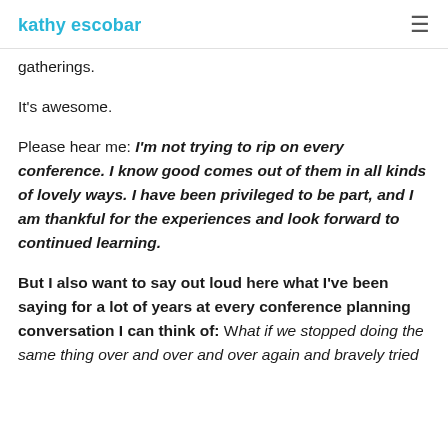kathy escobar
gatherings.
It's awesome.
Please hear me: I'm not trying to rip on every conference. I know good comes out of them in all kinds of lovely ways. I have been privileged to be part, and I am thankful for the experiences and look forward to continued learning.
But I also want to say out loud here what I've been saying for a lot of years at every conference planning conversation I can think of: What if we stopped doing the same thing over and over and over again and bravely tried